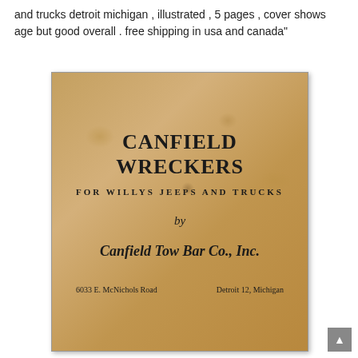and trucks detroit michigan , illustrated , 5 pages , cover shows age but good overall . free shipping in usa and canada"
[Figure (photo): Scanned photo of the cover of a vintage booklet titled 'CANFIELD WRECKERS FOR WILLYS JEEPS AND TRUCKS by Canfield Tow Bar Co., Inc.' with address '6033 E. McNichols Road, Detroit 12, Michigan'. The cover is aged brown/tan with visible wear and spots.]